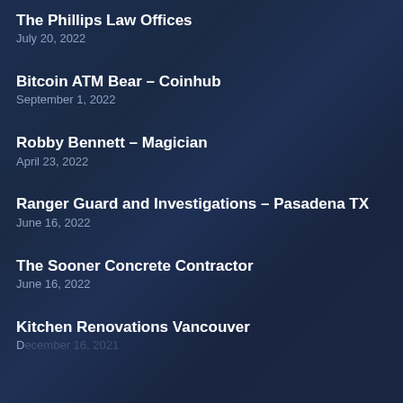The Phillips Law Offices
July 20, 2022
Bitcoin ATM Bear – Coinhub
September 1, 2022
Robby Bennett – Magician
April 23, 2022
Ranger Guard and Investigations – Pasadena TX
June 16, 2022
The Sooner Concrete Contractor
June 16, 2022
Kitchen Renovations Vancouver
December 16, 2021